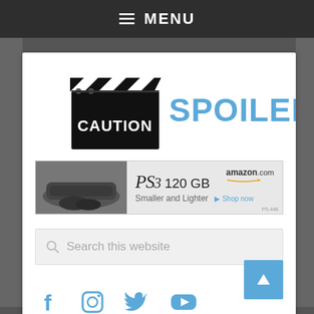≡ MENU
[Figure (logo): Caution Spoilers website logo — movie clapperboard with 'CAUTION' text on black board and 'SPOILERS' in large blue letters]
[Figure (screenshot): Amazon.com advertisement banner for PS3 120GB — Smaller and Lighter — Shop now]
Search this website
[Figure (other): Social media icons row: Facebook, Instagram, Twitter, YouTube]